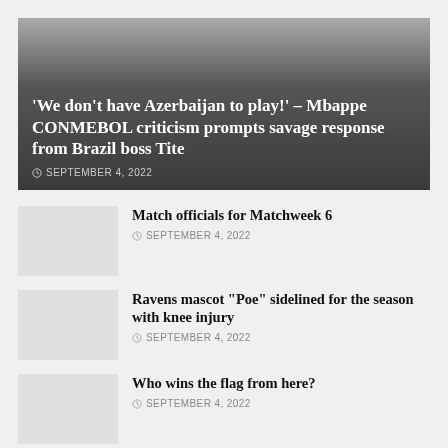'We don’t have Azerbaijan to play!’ – Mbappe CONMEBOL criticism prompts savage response from Brazil boss Tite
SEPTEMBER 4, 2022
Match officials for Matchweek 6
SEPTEMBER 4, 2022
Ravens mascot “Poe” sidelined for the season with knee injury
SEPTEMBER 4, 2022
Who wins the flag from here?
SEPTEMBER 4, 2022